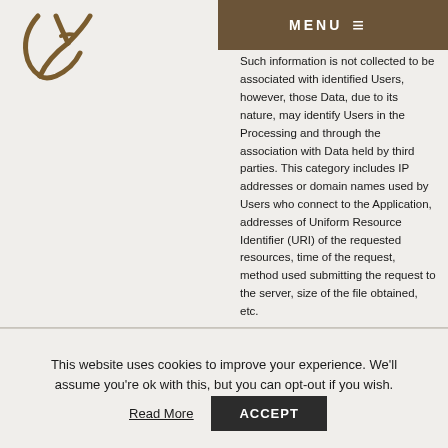[Figure (logo): Stylized KA monogram logo in dark brown/gold color]
MENU ≡
any Personal Data whose communication is implicit in the use of internet communication protocols. Such information is not collected to be associated with identified Users, however, those Data, due to its nature, may identify Users in the Processing and through the association with Data held by third parties. This category includes IP addresses or domain names used by Users who connect to the Application, addresses of Uniform Resource Identifier (URI) of the requested resources, time of the request, method used submitting the request to the server, size of the file obtained, etc.
Personal Data collected through cookies or similar technologies
This Application uses cookies, web beacons, unique
This website uses cookies to improve your experience. We'll assume you're ok with this, but you can opt-out if you wish.
Read More   ACCEPT